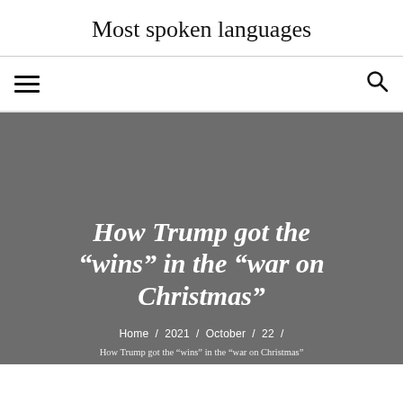Most spoken languages
Home / 2021 / October / 22 /
How Trump got the “wins” in the “war on Christmas”
Home / 2021 / October / 22 /
How Trump got the “wins” in the “war on Christmas”